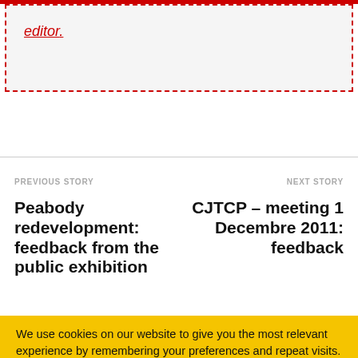editor.
PREVIOUS STORY
NEXT STORY
Peabody redevelopment: feedback from the public exhibition
CJTCP – meeting 1 Decembre 2011: feedback
We use cookies on our website to give you the most relevant experience by remembering your preferences and repeat visits. By clicking "Accept All", you consent to the use of ALL the cookies. However, you may visit "Cookie Settings" to provide a controlled consent.